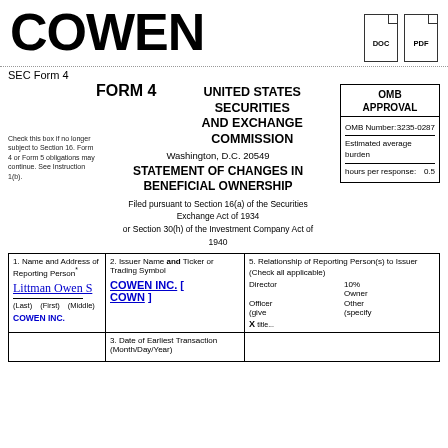COWEN
SEC Form 4
FORM 4   UNITED STATES SECURITIES AND EXCHANGE COMMISSION
Washington, D.C. 20549
Check this box if no longer subject to Section 16. Form 4 or Form 5 obligations may continue. See Instruction 1(b).
STATEMENT OF CHANGES IN BENEFICIAL OWNERSHIP
Filed pursuant to Section 16(a) of the Securities Exchange Act of 1934
or Section 30(h) of the Investment Company Act of 1940
| 1. Name and Address of Reporting Person* | 2. Issuer Name and Ticker or Trading Symbol | 5. Relationship of Reporting Person(s) to Issuer |
| --- | --- | --- |
| Littman Owen S

(Last)  (First)  (Middle)
COWEN INC. | COWEN INC. [ COWN ] | Director  10% Owner
Officer (give   Other (specify
X  title... |
|  | 3. Date of Earliest Transaction (Month/Day/Year) |  |